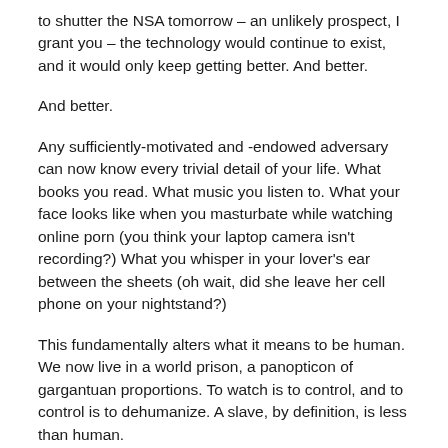to shutter the NSA tomorrow – an unlikely prospect, I grant you – the technology would continue to exist, and it would only keep getting better. And better.
And better.
Any sufficiently-motivated and -endowed adversary can now know every trivial detail of your life. What books you read. What music you listen to. What your face looks like when you masturbate while watching online porn (you think your laptop camera isn't recording?) What you whisper in your lover's ear between the sheets (oh wait, did she leave her cell phone on your nightstand?)
This fundamentally alters what it means to be human. We now live in a world prison, a panopticon of gargantuan proportions. To watch is to control, and to control is to dehumanize. A slave, by definition, is less than human.